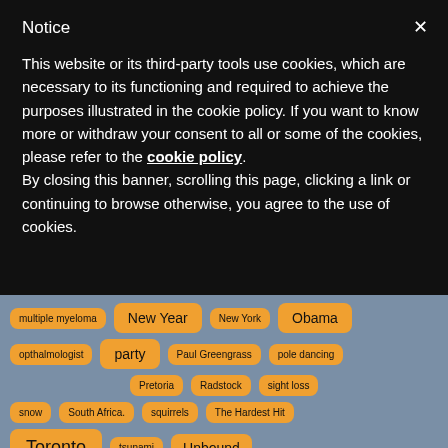Notice
This website or its third-party tools use cookies, which are necessary to its functioning and required to achieve the purposes illustrated in the cookie policy. If you want to know more or withdraw your consent to all or some of the cookies, please refer to the cookie policy.
By closing this banner, scrolling this page, clicking a link or continuing to browse otherwise, you agree to the use of cookies.
multiple myeloma
New Year
New York
Obama
opthalmologist
party
Paul Greengrass
pole dancing
Pretoria
Radstock
sight loss
snow
South Africa.
squirrels
The Hardest Hit
Toronto
tsunami
Unbound